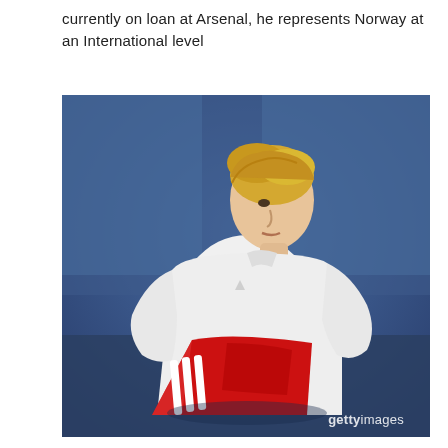currently on loan at Arsenal, he represents Norway at an International level
[Figure (photo): A young blond male footballer wearing a white long-sleeve undershirt and holding a red Arsenal kit, photographed against a blurred blue stadium background. Getty Images watermark visible at bottom right.]